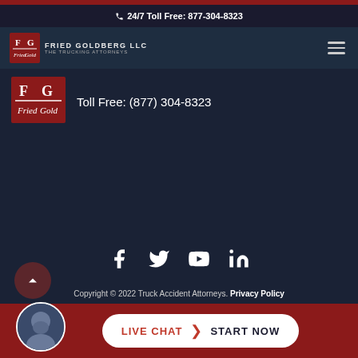📞 24/7 Toll Free: 877-304-8323
[Figure (logo): Fried Goldberg LLC - The Trucking Attorneys logo in nav bar]
[Figure (logo): Fried Goldberg LLC large logo in content area]
Toll Free: (877) 304-8323
[Figure (infographic): Social media icons: Facebook, Twitter, YouTube, LinkedIn]
Copyright © 2022 Truck Accident Attorneys. Privacy Policy
LIVE CHAT  START NOW